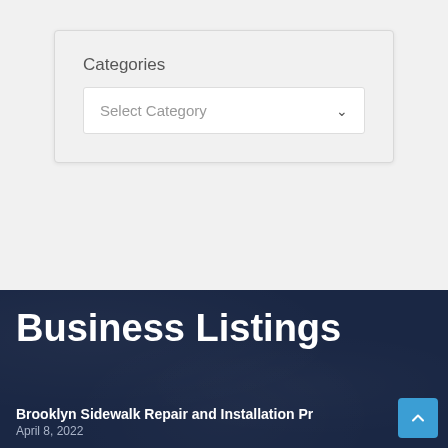Categories
[Figure (screenshot): A dropdown form field labeled 'Select Category' with a downward chevron arrow on a white background inside a light gray card.]
Business Listings
Brooklyn Sidewalk Repair and Installation Pr
April 8, 2022